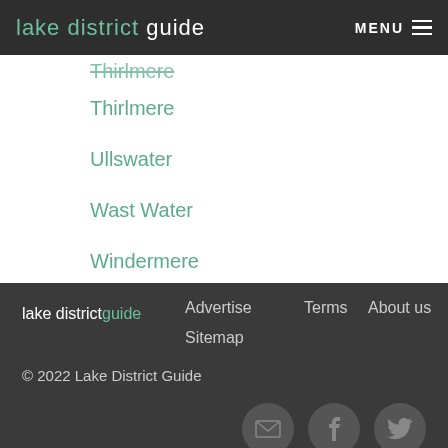lake district guide | MENU
Thirlmere
Ullswater
Wast Water
Windermere
lake district guide | Advertise | Terms | About us | Sitemap | © 2022 Lake District Guide